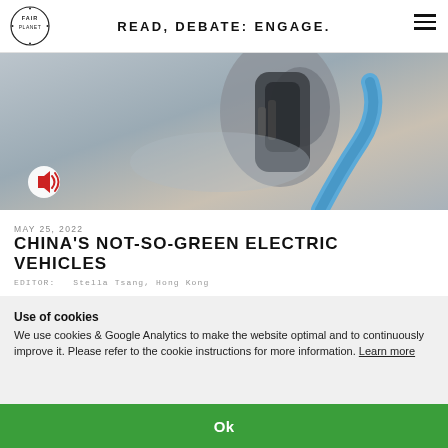READ, DEBATE: ENGAGE.
[Figure (photo): Close-up photo of an electric vehicle charging connector plugged into a vehicle, with a blue cable, on a grey/beige background. A circular sound button icon is overlaid at the bottom left.]
MAY 25, 2022
CHINA'S NOT-SO-GREEN ELECTRIC VEHICLES
EDITOR:  Stella Tsang, Hong Kong
Use of cookies
We use cookies & Google Analytics to make the website optimal and to continuously improve it. Please refer to the cookie instructions for more information. Learn more
Ok